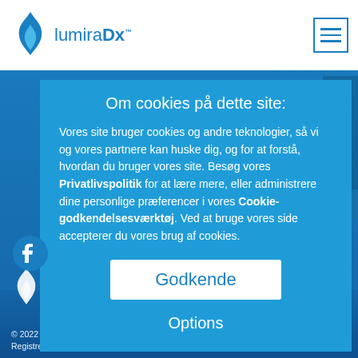[Figure (logo): LumiraDx logo with blue flame icon and brand name]
Om cookies på dette site:
Vores site bruger cookies og andre teknologier, så vi og vores partnere kan huske dig, og for at forstå, hvordan du bruger vores site. Besøg vores Privatlivspolitik for at lære mere, eller administrere dine personlige præferencer i vores Cookie-godkendelsesværktøj. Ved at bruge vores side accepterer du vores brug af cookies.
Godkende
Options
[Figure (logo): LumiraDx white flame logo in footer area]
© 2022 LumiraDx. Alle rettigheder forbeholdes, overalt i verden. Registreringsnummer: 09206123.